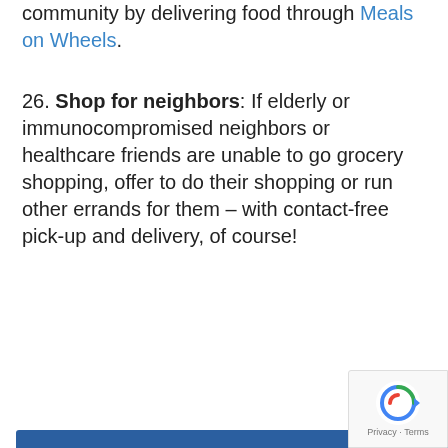community by delivering food through Meals on Wheels.
26. Shop for neighbors: If elderly or immunocompromised neighbors or healthcare friends are unable to go grocery shopping, offer to do their shopping or run other errands for them – with contact-free pick-up and delivery, of course!
...are at an all-...ues are empty ...urces are still ...supplies, or ...underlying ...getting out. ...your sp... ...rofits.
Cookie Policy - This website uses cookies. By continuing to use this site, you accept our use of cookies. Cookie settings ACCEPT